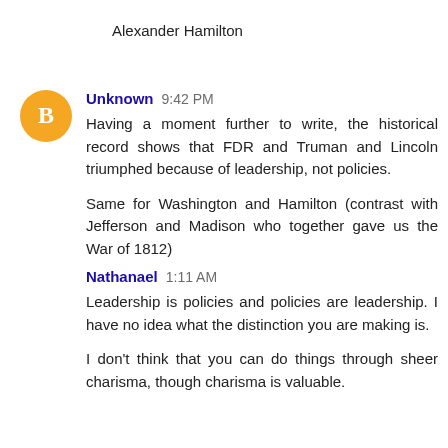Alexander Hamilton
Unknown 9:42 PM
Having a moment further to write, the historical record shows that FDR and Truman and Lincoln triumphed because of leadership, not policies.

Same for Washington and Hamilton (contrast with Jefferson and Madison who together gave us the War of 1812)
Nathanael 1:11 AM
Leadership is policies and policies are leadership. I have no idea what the distinction you are making is.

I don't think that you can do things through sheer charisma, though charisma is valuable.